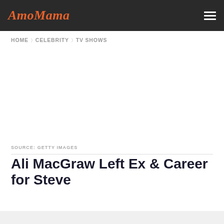AmoMama
HOME > CELEBRITY > TV SHOWS
[Figure (photo): Large image placeholder area (white/blank)]
SOURCE: GETTY IMAGES
Ali MacGraw Left Ex & Career for Steve